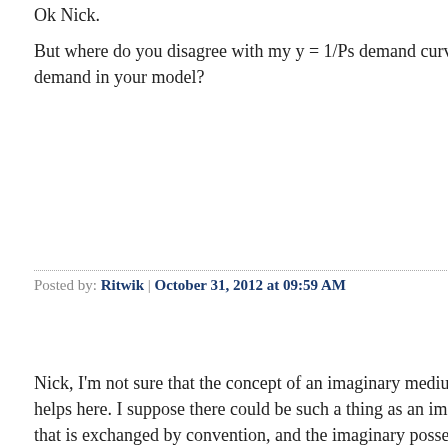Ok Nick.
But where do you disagree with my y = 1/Ps demand curve for gold demand in your model?
Posted by: Ritwik | October 31, 2012 at 09:59 AM
Nick, I'm not sure that the concept of an imaginary medium of account helps here. I suppose there could be such a thing as an imaginary medium that is exchanged by convention, and the imaginary possession of which is tracked with careful bookkeeping. But in the example of valors, the